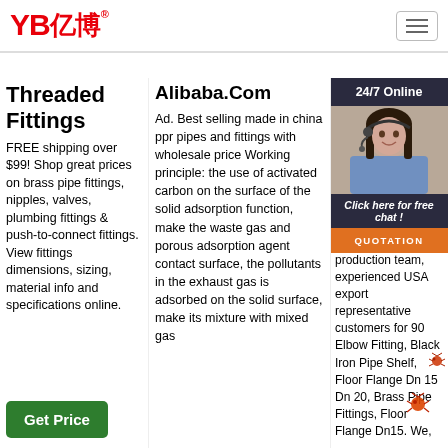[Figure (logo): YB亿博 company logo in red text with registered trademark symbol]
Threaded Fittings
FREE shipping over $99! Shop great prices on brass pipe fittings, nipples, valves, plumbing fittings & push-to-connect fittings. View fittings dimensions, sizing, material info and specifications online.
Get Price
Alibaba.Com
Ad. Best selling made in china ppr pipes and fittings with wholesale price Working principle: the use of activated carbon on the surface of the solid adsorption function, make the waste gas and porous adsorption agent contact surface, the pollutants in the exhaust gas is adsorbed on the solid surface, make its mixture with mixed gas
Getting started: 90 Elbow Fitting - 90 Elbow Fitting Manufacturers, Factory, Suppliers from China We have the most advanced equipment, experienced production team, experienced USA export representative customers for 90 Elbow Fitting, Black Iron Pipe Shelf, Floor Flange Dn 15 Dn 20, Brass Pipe Fittings, Floor Flange Dn15. We,
[Figure (photo): Customer service representative woman with headset, chat widget overlay with 24/7 Online text, Click here for free chat button, and QUOTATION orange button]